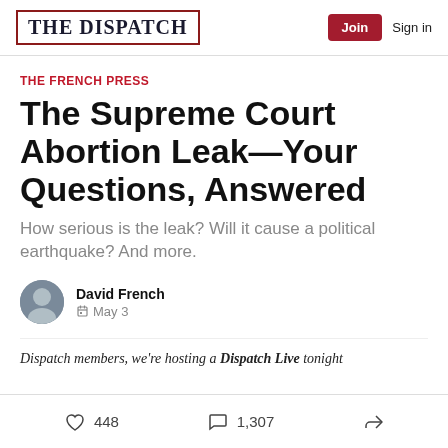THE DISPATCH | Join | Sign in
THE FRENCH PRESS
The Supreme Court Abortion Leak—Your Questions, Answered
How serious is the leak? Will it cause a political earthquake? And more.
David French
May 3
Dispatch members, we're hosting a Dispatch Live tonight
448 | 1,307